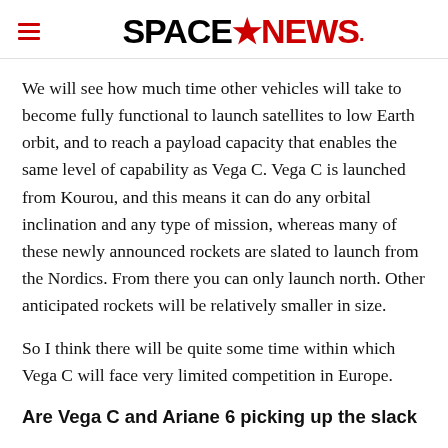SPACENEWS
We will see how much time other vehicles will take to become fully functional to launch satellites to low Earth orbit, and to reach a payload capacity that enables the same level of capability as Vega C. Vega C is launched from Kourou, and this means it can do any orbital inclination and any type of mission, whereas many of these newly announced rockets are slated to launch from the Nordics. From there you can only launch north. Other anticipated rockets will be relatively smaller in size.
So I think there will be quite some time within which Vega C will face very limited competition in Europe.
Are Vega C and Ariane 6 picking up the slack